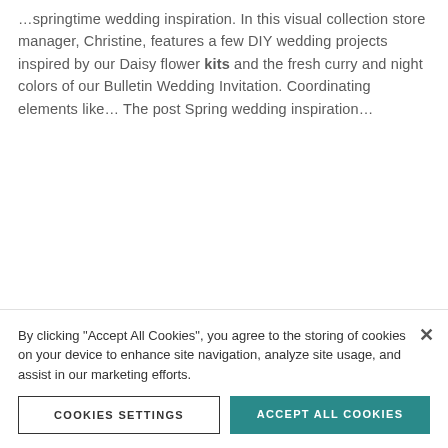…springtime wedding inspiration. In this visual collection store manager, Christine, features a few DIY wedding projects inspired by our Daisy flower kits and the fresh curry and night colors of our Bulletin Wedding Invitation. Coordinating elements like… The post Spring wedding inspiration…
[Figure (illustration): A red/orange illustrated bee stamp image]
By clicking "Accept All Cookies", you agree to the storing of cookies on your device to enhance site navigation, analyze site usage, and assist in our marketing efforts.
COOKIES SETTINGS
ACCEPT ALL COOKIES